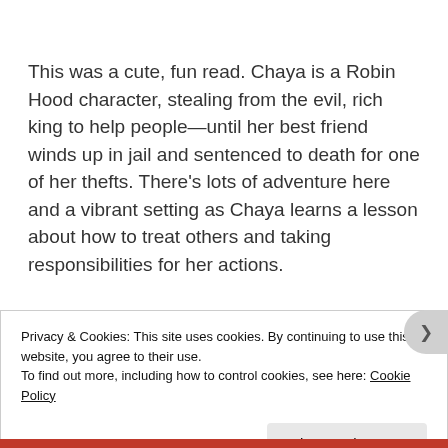This was a cute, fun read. Chaya is a Robin Hood character, stealing from the evil, rich king to help people—until her best friend winds up in jail and sentenced to death for one of her thefts. There's lots of adventure here and a vibrant setting as Chaya learns a lesson about how to treat others and taking responsibilities for her actions.
Privacy & Cookies: This site uses cookies. By continuing to use this website, you agree to their use.
To find out more, including how to control cookies, see here: Cookie Policy